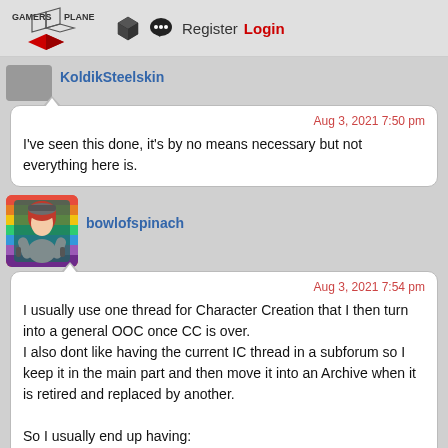Gamers Plane | Register | Login
KoldikSteelskin
Aug 3, 2021 7:50 pm
I've seen this done, it's by no means necessary but not everything here is.
bowlofspinach
Aug 3, 2021 7:54 pm
I usually use one thread for Character Creation that I then turn into a general OOC once CC is over.
I also dont like having the current IC thread in a subforum so I keep it in the main part and then move it into an Archive when it is retired and replaced by another.

So I usually end up having:
- A References subforum
- A Scene Archive